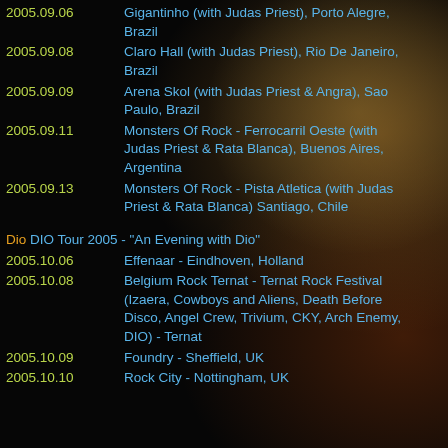2005.09.06 Gigantinho (with Judas Priest), Porto Alegre, Brazil
2005.09.08 Claro Hall (with Judas Priest), Rio De Janeiro, Brazil
2005.09.09 Arena Skol (with Judas Priest & Angra), Sao Paulo, Brazil
2005.09.11 Monsters Of Rock - Ferrocarril Oeste (with Judas Priest & Rata Blanca), Buenos Aires, Argentina
2005.09.13 Monsters Of Rock - Pista Atletica (with Judas Priest & Rata Blanca) Santiago, Chile
Dio DIO Tour 2005 - "An Evening with Dio"
2005.10.06 Effenaar - Eindhoven, Holland
2005.10.08 Belgium Rock Ternat - Ternat Rock Festival (Izaera, Cowboys and Aliens, Death Before Disco, Angel Crew, Trivium, CKY, Arch Enemy, DIO) - Ternat
2005.10.09 Foundry - Sheffield, UK
2005.10.10 Rock City - Nottingham, UK